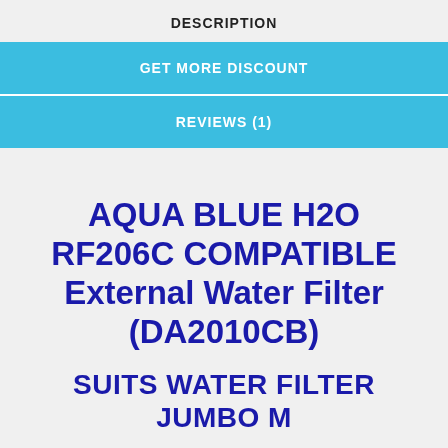DESCRIPTION
GET MORE DISCOUNT
REVIEWS (1)
AQUA BLUE H2O RF206C COMPATIBLE External Water Filter (DA2010CB)
SUITS WATER FILTER JUMBO M